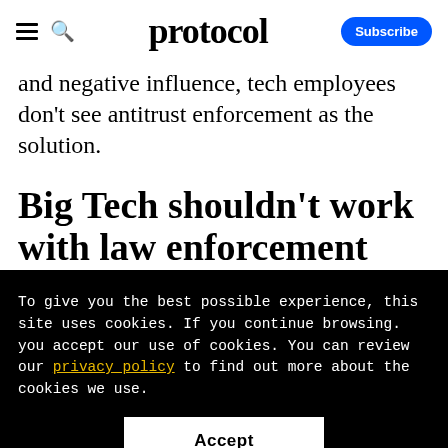protocol
and negative influence, tech employees don't see antitrust enforcement as the solution.
Big Tech shouldn't work with law enforcement
To give you the best possible experience, this site uses cookies. If you continue browsing. you accept our use of cookies. You can review our privacy policy to find out more about the cookies we use.
Accept